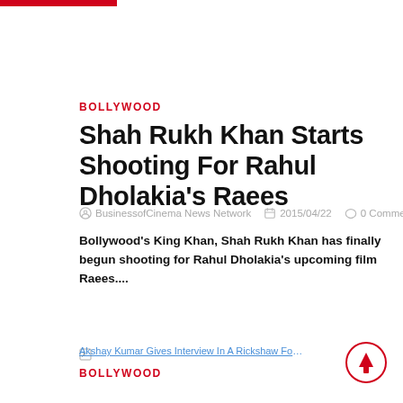BOLLYWOOD
Shah Rukh Khan Starts Shooting For Rahul Dholakia’s Raees
BusinessofCinema News Network   2015/04/22   0 Comment
Bollywood’s King Khan, Shah Rukh Khan has finally begun shooting for Rahul Dholakia’s upcoming film Raees....
Read More
Akshay Kumar Gives Interview In A Rickshaw For Gabbar Is Back
BOLLYWOOD